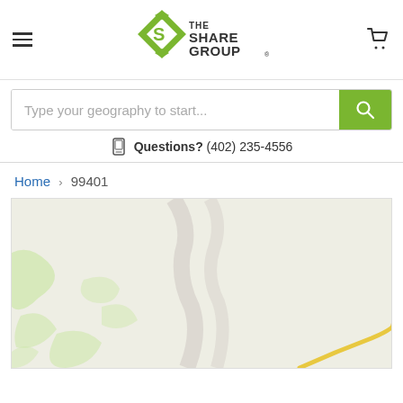[Figure (logo): The Share Group logo with green diamond/S shape and text THE SHARE GROUP]
Type your geography to start...
Questions? (402) 235-4556
Home › 99401
[Figure (map): Map view showing geographic region for zip code 99401, with light beige terrain, green highlighted areas, and a yellow road visible at bottom right]